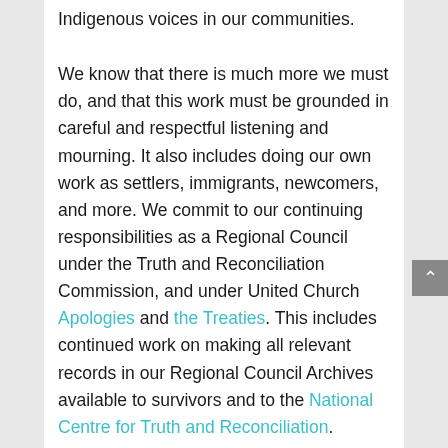Indigenous voices in our communities.

We know that there is much more we must do, and that this work must be grounded in careful and respectful listening and mourning. It also includes doing our own work as settlers, immigrants, newcomers, and more. We commit to our continuing responsibilities as a Regional Council under the Truth and Reconciliation Commission, and under United Church Apologies and the Treaties. This includes continued work on making all relevant records in our Regional Council Archives available to survivors and to the National Centre for Truth and Reconciliation.

As one part of that commitment, we must also confront our own history and context. As the United